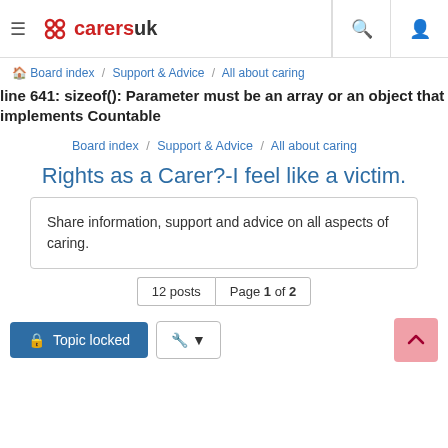CarersUK navigation bar with hamburger menu, logo, search and profile icons
line 641: sizeof(): Parameter must be an array or an object that implements Countable
Board index / Support & Advice / All about caring
Rights as a Carer?-I feel like a victim.
Share information, support and advice on all aspects of caring.
12 posts  Page 1 of 2
Topic locked